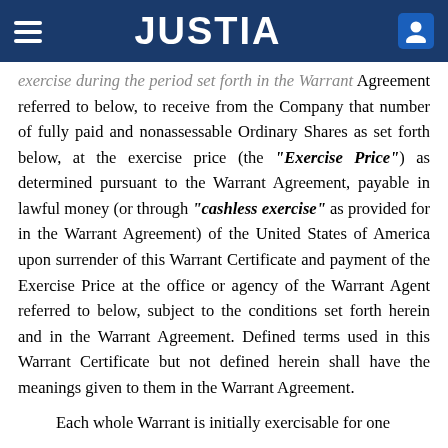JUSTIA
exercise during the period set forth in the Warrant Agreement referred to below, to receive from the Company that number of fully paid and nonassessable Ordinary Shares as set forth below, at the exercise price (the “Exercise Price”) as determined pursuant to the Warrant Agreement, payable in lawful money (or through “cashless exercise” as provided for in the Warrant Agreement) of the United States of America upon surrender of this Warrant Certificate and payment of the Exercise Price at the office or agency of the Warrant Agent referred to below, subject to the conditions set forth herein and in the Warrant Agreement. Defined terms used in this Warrant Certificate but not defined herein shall have the meanings given to them in the Warrant Agreement.
Each whole Warrant is initially exercisable for one